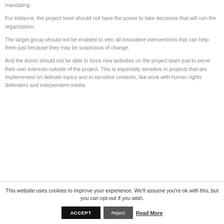mandating.
For instance, the project team should not have the power to take decisions that will ruin the organization.
The target group should not be enabled to veto all innovative interventions that can help them just because they may be suspicious of change.
And the donor should not be able to force new activities on the project team just to serve their own interests outside of the project. This is especially sensitive in projects that are implemented on delicate topics and in sensitive contexts, like work with human rights defenders and independent media.
This website uses cookies to improve your experience. We'll assume you're ok with this, but you can opt-out if you wish.
ACCEPT
Reject
Read More